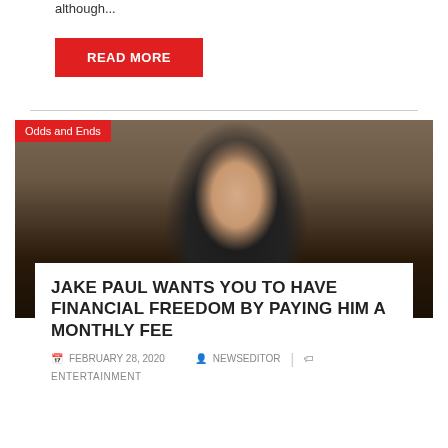although...
READ MORE
[Figure (photo): Young man in black t-shirt standing in front of a stone wall background]
Odds and Ends
JAKE PAUL WANTS YOU TO HAVE FINANCIAL FREEDOM BY PAYING HIM A MONTHLY FEE
FEBRUARY 28, 2020  NEWSEDITOR  ENTERTAINMENT